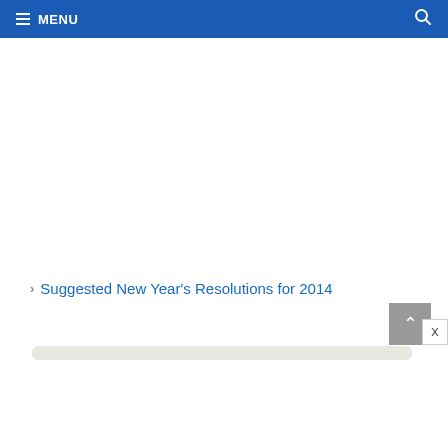MENU
Suggested New Year's Resolutions for 2014